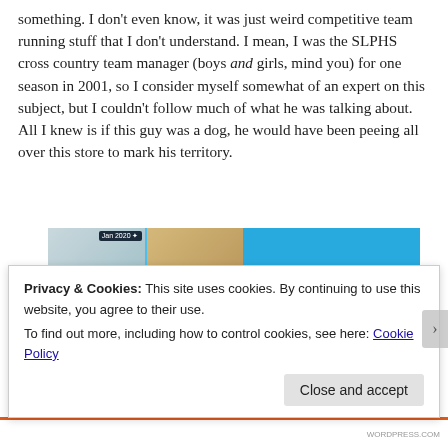something. I don't even know, it was just weird competitive team running stuff that I don't understand. I mean, I was the SLPHS cross country team manager (boys and girls, mind you) for one season in 2001, so I consider myself somewhat of an expert on this subject, but I couldn't follow much of what he was talking about. All I knew is if this guy was a dog, he would have been peeing all over this store to mark his territory.
[Figure (screenshot): App advertisement banner showing a journal app with photo collage on blue background. Left side shows a 2x2 grid of photos (lifestyle, nature, beach with palm trees). Right side shows text 'Your Journal for life' in white on blue.]
Privacy & Cookies: This site uses cookies. By continuing to use this website, you agree to their use.
To find out more, including how to control cookies, see here: Cookie Policy
Close and accept